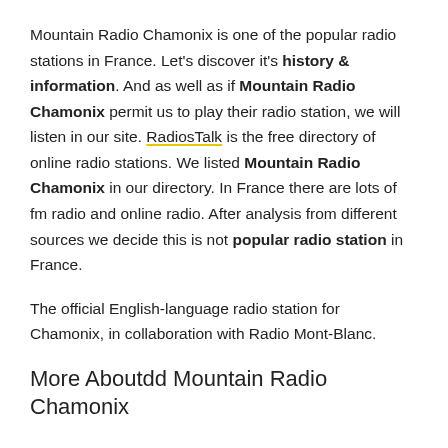Mountain Radio Chamonix is one of the popular radio stations in France. Let's discover it's history & information. And as well as if Mountain Radio Chamonix permit us to play their radio station, we will listen in our site. RadiosTalk is the free directory of online radio stations. We listed Mountain Radio Chamonix in our directory. In France there are lots of fm radio and online radio. After analysis from different sources we decide this is not popular radio station in France.
The official English-language radio station for Chamonix, in collaboration with Radio Mont-Blanc.
More Aboutdd Mountain Radio Chamonix